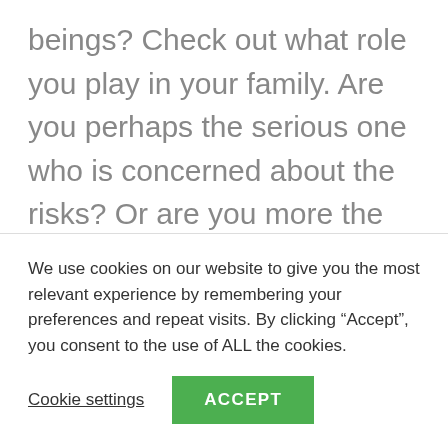beings? Check out what role you play in your family. Are you perhaps the serious one who is concerned about the risks? Or are you more the joker who makes sure that the fun is not missed out? How are things in your circle of friends? Do you set the tone and determine what you do, or are you more of a person who can easily adapt to the wishes of others? What is it like at work? Do you create a good atmosphere in the team or do you always get the
We use cookies on our website to give you the most relevant experience by remembering your preferences and repeat visits. By clicking “Accept”, you consent to the use of ALL the cookies.
Cookie settings
ACCEPT